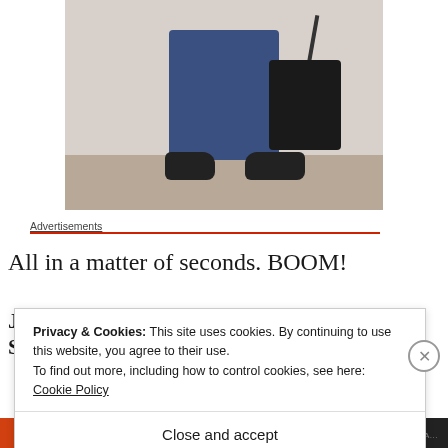[Figure (photo): Bottom half of person wearing dark blue jeans, black flat shoes, carrying a black leather tote/handbag, standing on wooden floor near white wall]
Advertisements
All in a matter of seconds. BOOM!
Privacy & Cookies: This site uses cookies. By continuing to use this website, you agree to their use.
To find out more, including how to control cookies, see here: Cookie Policy
Close and accept